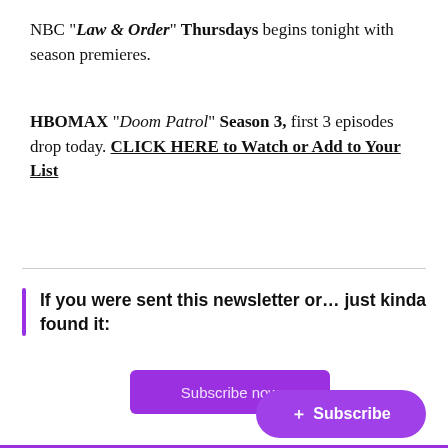NBC “Law & Order” Thursdays begins tonight with season premieres.
HBOMAX “Doom Patrol” Season 3, first 3 episodes drop today. CLICK HERE to Watch or Add to Your List
If you were sent this newsletter or... just kinda found it:
Subscribe now
+ Subscribe